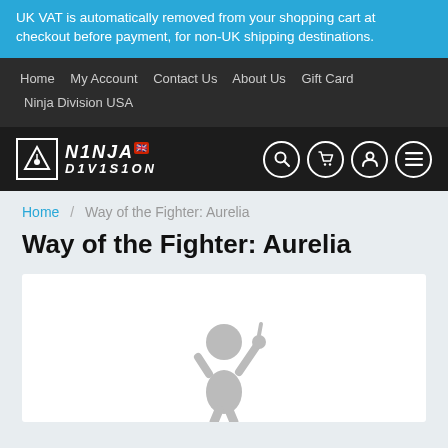UK VAT is automatically removed from your shopping cart at checkout before payment, for non-UK shipping destinations.
Home  My Account  Contact Us  About Us  Gift Card  Ninja Division USA
[Figure (logo): Ninja Division logo with triangle icon, white text on dark background, UK flag badge, and four icon buttons (search, cart, user, menu)]
Home / Way of the Fighter: Aurelia
Way of the Fighter: Aurelia
[Figure (photo): Product image showing a miniature figurine of Aurelia from Way of the Fighter against a white background]